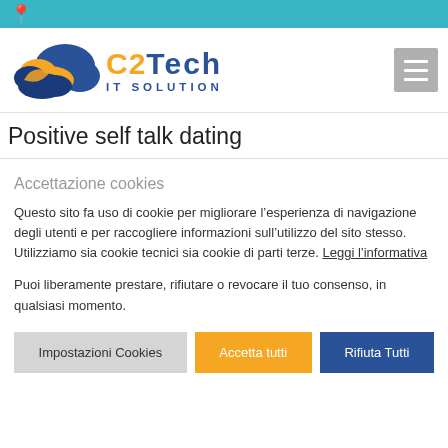[Figure (logo): C2Tech IT Solution logo with cloud graphic in blue and orange]
Positive self talk dating
Accettazione cookies
Questo sito fa uso di cookie per migliorare l’esperienza di navigazione degli utenti e per raccogliere informazioni sull’utilizzo del sito stesso. Utilizziamo sia cookie tecnici sia cookie di parti terze. Leggi l’informativa
Puoi liberamente prestare, rifiutare o revocare il tuo consenso, in qualsiasi momento.
Impostazioni Cookies | Accetta tutti | Rifiuta Tutti